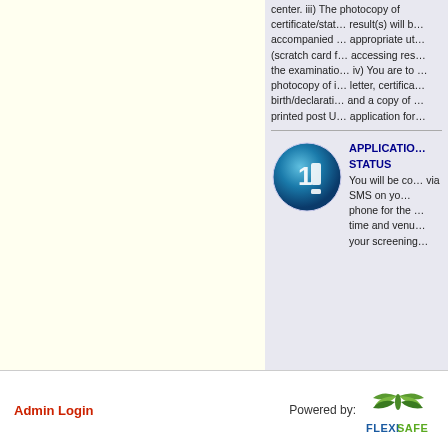center. iii) The photocopy of certificate/statement result(s) will be accompanied appropriate utility (scratch card for accessing result) and the examination fee. iv) You are to bring photocopy of invitation letter, certificate of birth/declaration of age and a copy of your printed post UTME application form.
[Figure (illustration): Blue circular badge with the number 10 displayed inside]
APPLICATION STATUS You will be contacted via SMS on your phone for the date, time and venue of your screening.
Admin Login
Powered by:
[Figure (logo): FlexiSAFE logo with green leaf/wing graphic]